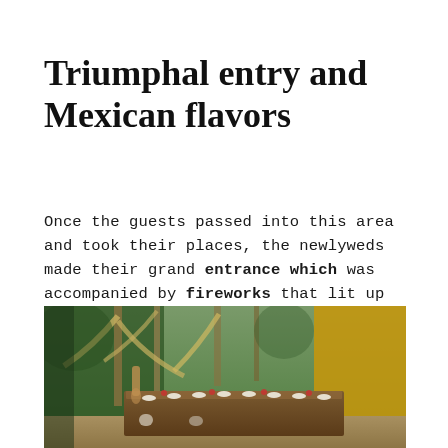Triumphal entry and Mexican flavors
Once the guests passed into this area and took their places, the newlyweds made their grand entrance which was accompanied by fireworks that lit up the sky. When the couple entered, dinner was ready, a combination of Oaxacan flavors with local touches enamored each and every one of the guests.
[Figure (photo): Outdoor wedding reception dinner table set with flowers and decorations, surrounded by tropical foliage and palm trees, with yellow wall in background]